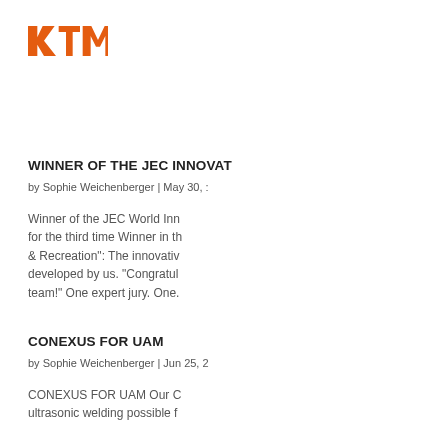[Figure (logo): KTM orange logo with stylized KTM lettering]
WINNER OF THE JEC INNOVAT
by Sophie Weichenberger | May 30, :
Winner of the JEC World Inn for the third time Winner in th & Recreation": The innovativ developed by us. “Congratl team!” One expert jury. One.
CONEXUS FOR UAM
by Sophie Weichenberger | Jun 25, 2
CONEXUS FOR UAM Our C ultrasonic welding possible f